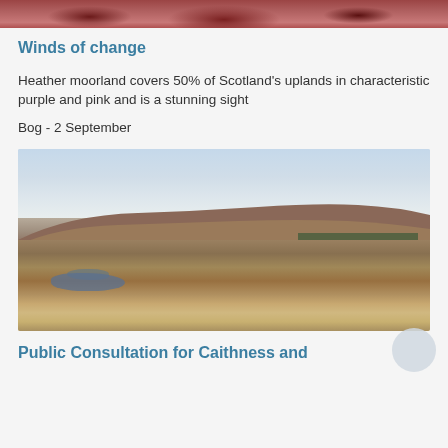[Figure (photo): Top portion of a heather moorland photo, showing reddish-pink heather plants close up]
Winds of change
Heather moorland covers 50% of Scotland's uplands in characteristic purple and pink and is a stunning sight
Bog - 2 September
[Figure (photo): A wide moorland landscape with boggy foreground, brown and golden grasses, small water pools, and a rounded hill in the background under a partly cloudy sky]
Public Consultation for Caithness and